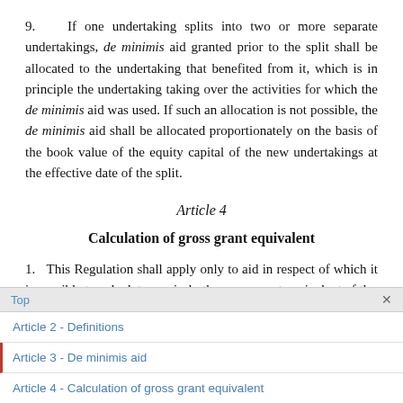9. If one undertaking splits into two or more separate undertakings, de minimis aid granted prior to the split shall be allocated to the undertaking that benefited from it, which is in principle the undertaking taking over the activities for which the de minimis aid was used. If such an allocation is not possible, the de minimis aid shall be allocated proportionately on the basis of the book value of the equity capital of the new undertakings at the effective date of the split.
Article 4
Calculation of gross grant equivalent
1. This Regulation shall apply only to aid in respect of which it is possible to calculate precisely the gross grant equivalent of the
Top ×
Article 2 - Definitions
Article 3 - De minimis aid
Article 4 - Calculation of gross grant equivalent